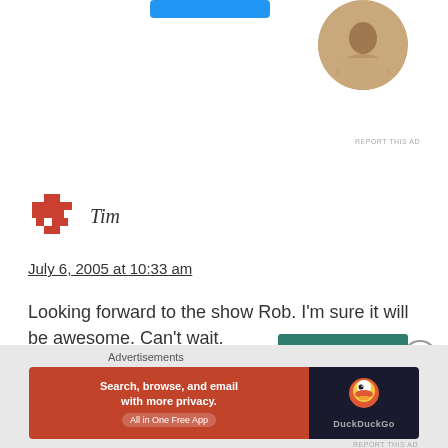[Figure (photo): Partial circular profile photo of a person at top right of page, person appears to be working at a desk]
REPORT THIS AD
[Figure (logo): HTB (HowToBeA) pixelated red/terracotta cross/plus logo icon]
Tim
July 6, 2005 at 10:33 am
Looking forward to the show Rob. I'm sure it will be awesome. Can't wait.
Like
[Figure (screenshot): DuckDuckGo advertisement banner: orange section with text 'Search, browse, and email with more privacy. All in One Free App' and dark section with DuckDuckGo duck logo]
Advertisements
REPORT THIS AD